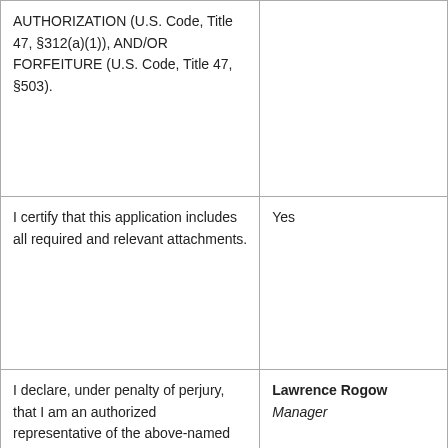| AUTHORIZATION (U.S. Code, Title 47, §312(a)(1)), AND/OR FORFEITURE (U.S. Code, Title 47, §503). |  |
| I certify that this application includes all required and relevant attachments. | Yes |
| I declare, under penalty of perjury, that I am an authorized representative of the above-named applicant for the Authorization(s) | Lawrence Rogow
Manager

11/01/2018 |